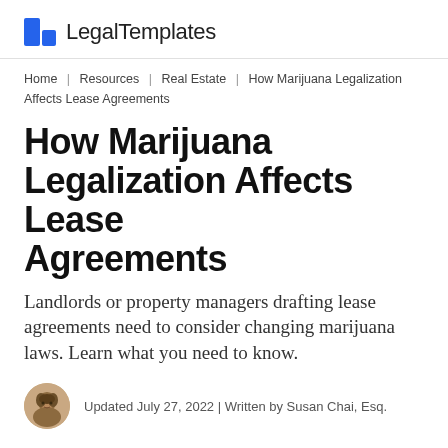LegalTemplates
Home | Resources | Real Estate | How Marijuana Legalization Affects Lease Agreements
How Marijuana Legalization Affects Lease Agreements
Landlords or property managers drafting lease agreements need to consider changing marijuana laws. Learn what you need to know.
Updated July 27, 2022 | Written by Susan Chai, Esq.